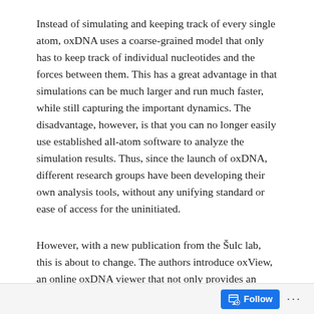Instead of simulating and keeping track of every single atom, oxDNA uses a coarse-grained model that only has to keep track of individual nucleotides and the forces between them. This has a great advantage in that simulations can be much larger and run much faster, while still capturing the important dynamics. The disadvantage, however, is that you can no longer easily use established all-atom software to analyze the simulation results. Thus, since the launch of oxDNA, different research groups have been developing their own analysis tools, without any unifying standard or ease of access for the uninitiated.
However, with a new publication from the Šulc lab, this is about to change. The authors introduce oxView, an online oxDNA viewer that not only provides an easy way of looking at simulations, but that also lets you assemble and edit structures before simulating them. Moreover, the
Follow ...